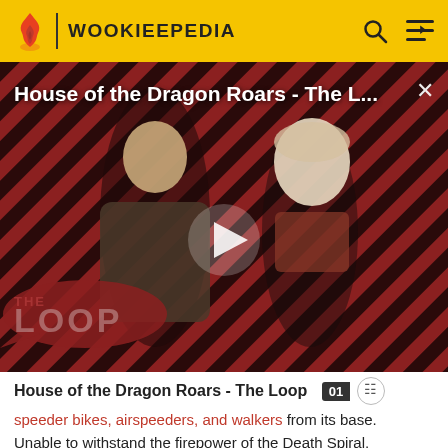WOOKIEEPEDIA
[Figure (screenshot): Video thumbnail for 'House of the Dragon Roars - The L...' showing two characters against a diagonal striped red and dark background. A white play button triangle is centered. 'THE LOOP' logo appears in the lower left. A close (X) button is in the upper right.]
House of the Dragon Roars - The Loop
speeder bikes, airspeeders, and walkers from its base. Unable to withstand the firepower of the Death Spiral, Daiman's mercenaries were forced to retreat and the Death Spiral inflicted heavy casualties on Daiman's